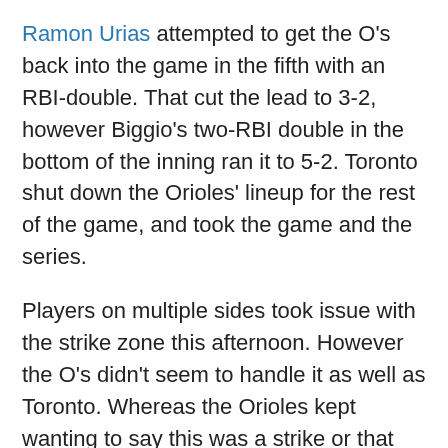Ramon Urias attempted to get the O's back into the game in the fifth with an RBI-double. That cut the lead to 3-2, however Biggio's two-RBI double in the bottom of the inning ran it to 5-2. Toronto shut down the Orioles' lineup for the rest of the game, and took the game and the series.
Players on multiple sides took issue with the strike zone this afternoon. However the O's didn't seem to handle it as well as Toronto. Whereas the Orioles kept wanting to say this was a strike or that was a ball, Toronto pitchers pitched to the umpire's zone.
Toronto frustrates the heck out of the Orioles in general. Save for Friday night's game, every bounce seems to go their way. And they aren't shy in celebrating even a